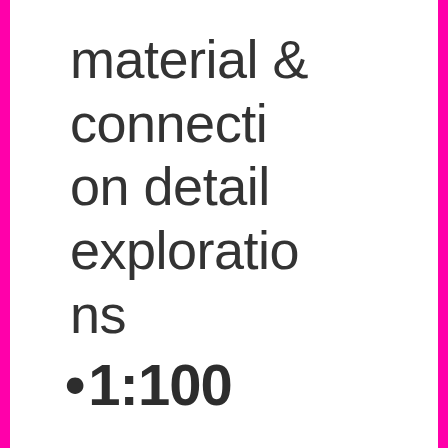material & connection detail explorations
• 1:100